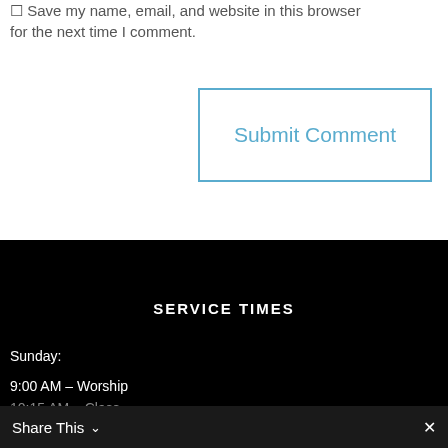Save my name, email, and website in this browser for the next time I comment.
Submit Comment
SERVICE TIMES
Sunday:
9:00 AM – Worship
10:15 AM – Class
6:00 PM – Worship
Share This